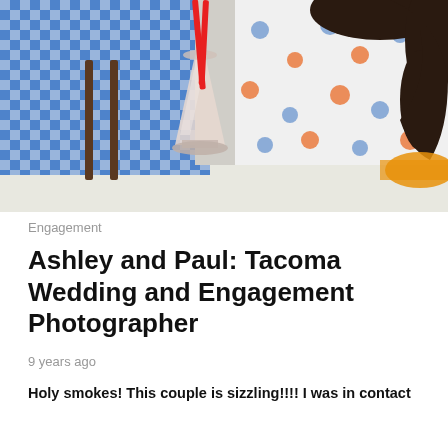[Figure (photo): A couple sharing a milkshake with red straws. The man on the left wears a blue and white gingham/checkered shirt with suspenders. The woman on the right wears a white floral dress with orange and blue flowers and has long dark curly hair. A tall milkshake glass sits between them on a white table.]
Engagement
Ashley and Paul: Tacoma Wedding and Engagement Photographer
9 years ago
Holy smokes! This couple is sizzling!!!! I was in contact